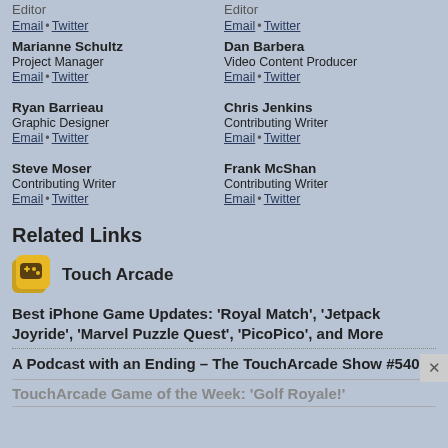Editor
Email • Twitter
Editor
Email • Twitter
Marianne Schultz
Project Manager
Email • Twitter
Dan Barbera
Video Content Producer
Email • Twitter
Ryan Barrieau
Graphic Designer
Email • Twitter
Chris Jenkins
Contributing Writer
Email • Twitter
Steve Moser
Contributing Writer
Email • Twitter
Frank McShan
Contributing Writer
Email • Twitter
Related Links
[Figure (logo): Touch Arcade app icon logo]
Touch Arcade
Best iPhone Game Updates: 'Royal Match', 'Jetpack Joyride', 'Marvel Puzzle Quest', 'PicoPico', and More
A Podcast with an Ending – The TouchArcade Show #540
TouchArcade Game of the Week: 'Golf Royale!'